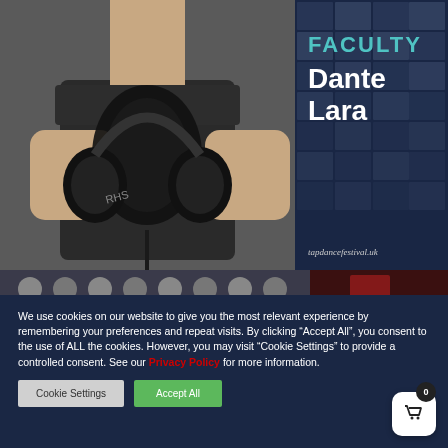[Figure (photo): Faculty promotional image showing a person in a dark t-shirt holding large black headphones up to their chest. Right side has a dark navy blue panel with the text 'FACULTY' in teal/white block letters and 'Dante Lara' in large bold white text, with a grid of small photos in the background and the URL 'tapdancefestival.uk' at the bottom.]
[Figure (photo): A partial banner strip showing a group photo of people, partially cropped, with a dark reddish background on the right side.]
We use cookies on our website to give you the most relevant experience by remembering your preferences and repeat visits. By clicking “Accept All”, you consent to the use of ALL the cookies. However, you may visit “Cookie Settings” to provide a controlled consent. See our Privacy Policy for more information.
Cookie Settings
Accept All